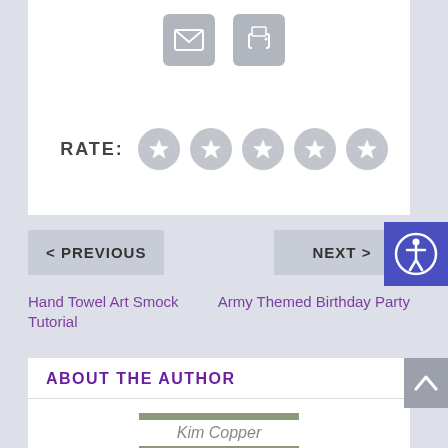[Figure (infographic): Email and print icon buttons in grey rounded rectangles]
RATE:
[Figure (infographic): Five grey star rating circles]
[Figure (infographic): Accessibility icon button (blue background, person in circle)]
< PREVIOUS
NEXT >
Hand Towel Art Smock Tutorial
Army Themed Birthday Party
ABOUT THE AUTHOR
[Figure (photo): Person on a vehicle outdoors, author photo of Kim Copper]
Kim Copper